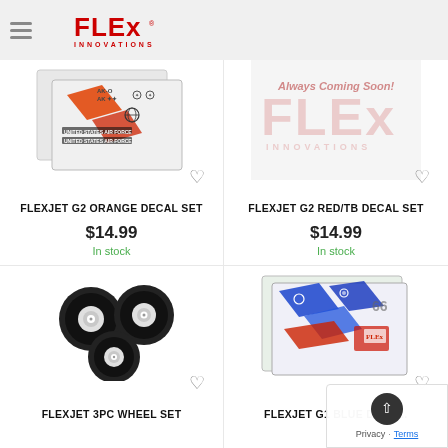Flex Innovations
[Figure (photo): FLEXJET G2 Orange Decal Set product image showing orange and red decal sheets with United States Air Force markings]
FLEXJET G2 ORANGE DECAL SET
$14.99
In stock
[Figure (photo): Flex Innovations Coming Soon placeholder image with FLEx Innovations logo]
FLEXJET G2 RED/TB DECAL SET
$14.99
In stock
[Figure (photo): FLEXJET 3PC Wheel Set product image showing three foam wheels]
FLEXJET 3PC WHEEL SET
[Figure (photo): FLEXJET G1 Blue Decal Set product image showing blue and red decal sheets]
FLEXJET G1 BLUE DECA…